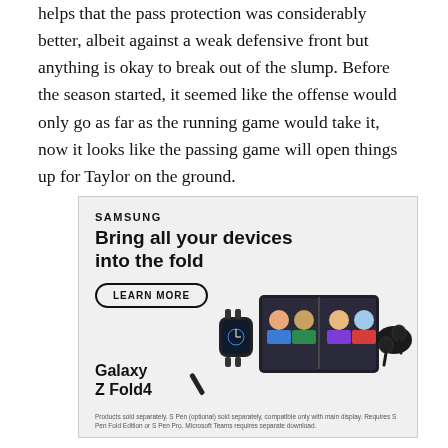helps that the pass protection was considerably better, albeit against a weak defensive front but anything is okay to break out of the slump. Before the season started, it seemed like the offense would only go as far as the running game would take it, now it looks like the passing game will open things up for Taylor on the ground.
[Figure (illustration): Samsung advertisement for Galaxy Z Fold4. Shows Samsung branding, headline 'Bring all your devices into the fold', a 'Learn More' button, and product imagery showing a folding phone, smartwatch, earbuds, and a stylus. Footnote text about products sold separately.]